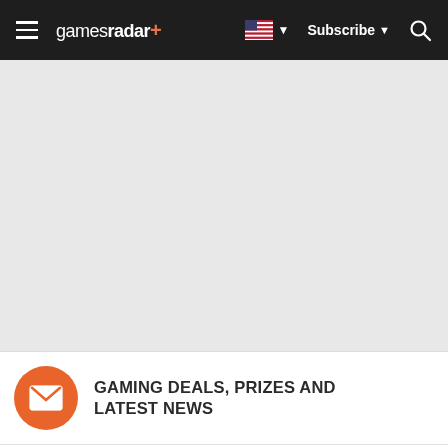gamesradar+ | Subscribe | Search
[Figure (other): Large gray advertisement/empty banner area below the navigation bar]
GAMING DEALS, PRIZES AND LATEST NEWS
Get the best gaming deals, reviews, product advice, competitions, unmissable